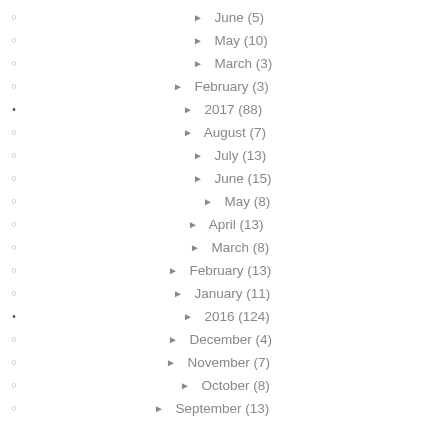► June (5)
► May (10)
► March (3)
► February (3)
► 2017 (88)
► August (7)
► July (13)
► June (15)
► May (8)
► April (13)
► March (8)
► February (13)
► January (11)
► 2016 (124)
► December (4)
► November (7)
► October (8)
► September (13)